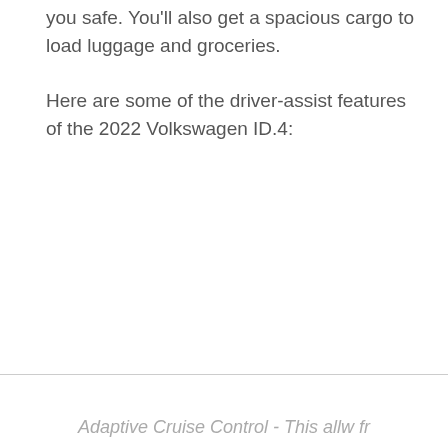you safe. You'll also get a spacious cargo to load luggage and groceries.
Here are some of the driver-assist features of the 2022 Volkswagen ID.4:
Adaptive Cruise Control - This allw fr...